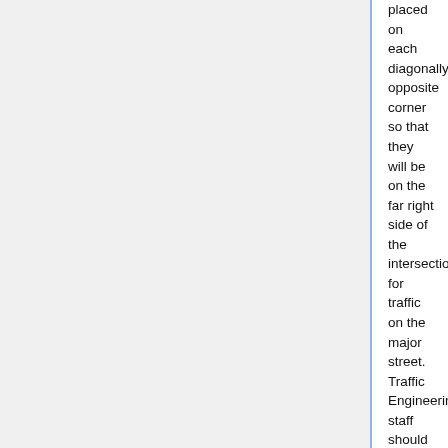placed on each diagonally opposite corner so that they will be on the far right side of the intersection for traffic on the major street. Traffic Engineering staff should determine the major street. In most cases, other than residential-residential street intersections, it should be evident. In general, the street that does not have any type of control would be declared the major street. Where the intersection is still an uncontrolled 4-way intersection, City practice would require that we install stop signs on the minor legs and the street name signs would be mounted above the stop sign. The final decision in this example would be made by Traffic Engineering staff.
Only one Street Name sign should be mounted at each intersection where the major street is less than 36' wide from